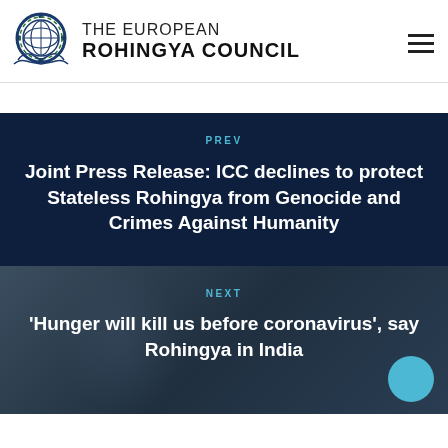THE EUROPEAN ROHINGYA COUNCIL
PREV
Joint Press Release: ICC declines to protect Stateless Rohingya from Genocide and Crimes Against Humanity
NEXT
'Hunger will kill us before coronavirus', say Rohingya in India